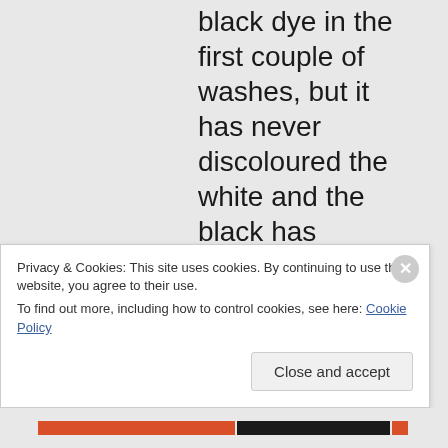black dye in the first couple of washes, but it has never discoloured the white and the black has remained black – I eventually started chucking it in with my light coloured wash and haven't had any problems.
Privacy & Cookies: This site uses cookies. By continuing to use this website, you agree to their use.
To find out more, including how to control cookies, see here: Cookie Policy